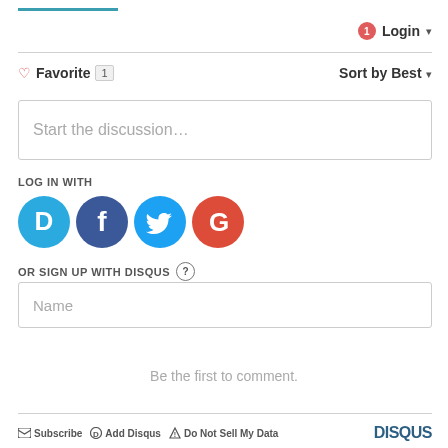[Figure (screenshot): Disqus comment widget UI with login button, favorite, sort, discussion box, social login icons, sign up form, and footer]
Login ▾
♡ Favorite 1   Sort by Best ▾
Start the discussion…
LOG IN WITH
OR SIGN UP WITH DISQUS ?
Name
Be the first to comment.
Subscribe  Add Disqus  Do Not Sell My Data   DISQUS